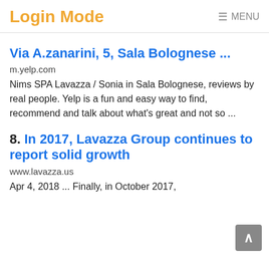Login Mode  ≡ MENU
Via A.zanarini, 5, Sala Bolognese ...
m.yelp.com
Nims SPA Lavazza / Sonia in Sala Bolognese, reviews by real people. Yelp is a fun and easy way to find, recommend and talk about what's great and not so ...
8. In 2017, Lavazza Group continues to report solid growth
www.lavazza.us
Apr 4, 2018 ... Finally, in October 2017,